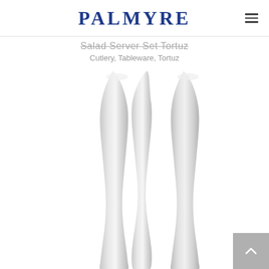PALMYRE
Salad Server Set Tortuz
Cutlery, Tableware, Tortuz
[Figure (photo): Two stainless steel salad server utensils (a spoon and fork/server) photographed from above showing their handles — sleek modern design with a hourglass-shaped silver metallic handle, white background.]